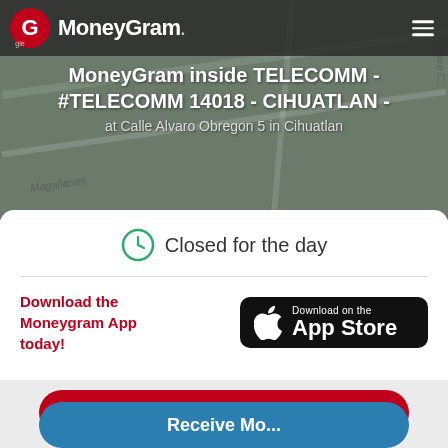[Figure (screenshot): MoneyGram website/app screenshot showing a map background with MoneyGram logo and location header]
Map data @2022 Google
MoneyGram inside TELECOMM - #TELECOMM 14018 - CIHUATLAN -
at Calle Alvaro Obregon 5 in Cihuatlan
Closed for the day
Download the Moneygram App today!
[Figure (logo): Download on the App Store button]
Send Money Now
Receive Mo...